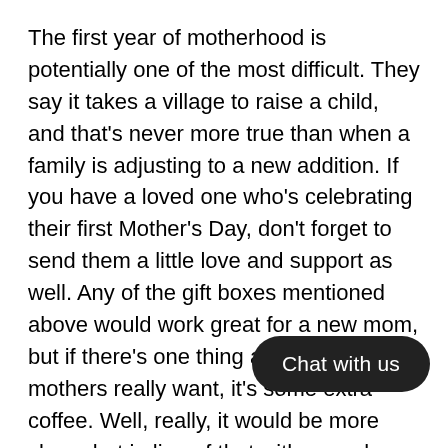The first year of motherhood is potentially one of the most difficult. They say it takes a village to raise a child, and that's never more true than when a family is adjusting to a new addition. If you have a loved one who's celebrating their first Mother's Day, don't forget to send them a little love and support as well. Any of the gift boxes mentioned above would work great for a new mom, but if there's one thing a lot of new mothers really want, it's some extra coffee. Well, really, it would be more sleep, but in lieu of that with a newborn, coffee will have to do.
The Morning Brew gift box is perfect for this. It comes with two packages of delicious pour over coffee, a soy candle, some Cardamom crisp cookies and a mug with an inspirational "see the good" message for when things are feeling particularly tough.
We hope these ideas give you some inspiration for planning out a wonderful celebration for the person you